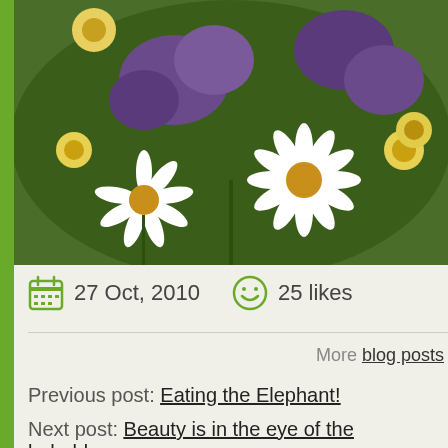[Figure (photo): Close-up photograph of mixed flowers including white daisies, yellow daisies, and purple wildflowers]
27 Oct, 2010   25 likes
More blog posts
Previous post: Eating the Elephant!
Next post: Beauty is in the eye of the beholder....
Comments